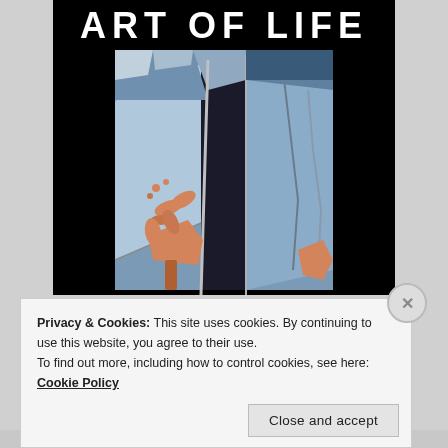[Figure (illustration): Book cover or website image showing 'ART OF LIFE' text in white on black background, with an abstract cubist-style painting below depicting geometric blue/gray stone forms with orange hand-like shapes]
Privacy & Cookies: This site uses cookies. By continuing to use this website, you agree to their use.
To find out more, including how to control cookies, see here: Cookie Policy
Close and accept